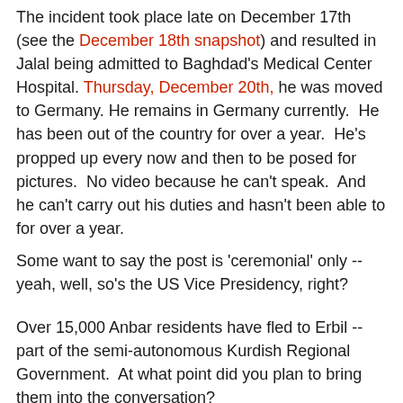The incident took place late on December 17th (see the December 18th snapshot) and resulted in Jalal being admitted to Baghdad's Medical Center Hospital. Thursday, December 20th, he was moved to Germany. He remains in Germany currently.  He has been out of the country for over a year.  He's propped up every now and then to be posed for pictures.  No video because he can't speak.  And he can't carry out his duties and hasn't been able to for over a year.
Some want to say the post is 'ceremonial' only -- yeah, well, so's the US Vice Presidency, right?
Over 15,000 Anbar residents have fled to Erbil -- part of the semi-autonomous Kurdish Regional Government.  At what point did you plan to bring them into the conversation?
Today.